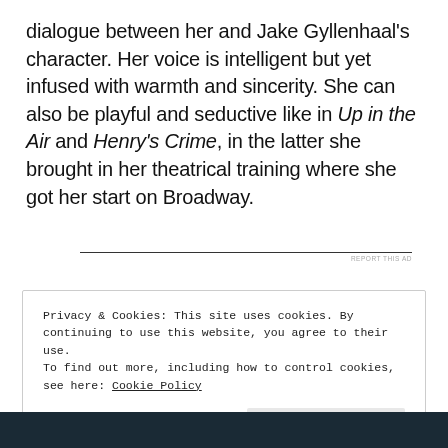dialogue between her and Jake Gyllenhaal's character. Her voice is intelligent but yet infused with warmth and sincerity. She can also be playful and seductive like in Up in the Air and Henry's Crime, in the latter she brought in her theatrical training where she got her start on Broadway.
REPORT THIS AD
Privacy & Cookies: This site uses cookies. By continuing to use this website, you agree to their use.
To find out more, including how to control cookies, see here: Cookie Policy
Close and accept
[Figure (photo): Dark photo strip at the bottom of the page, appears to be a partial image]